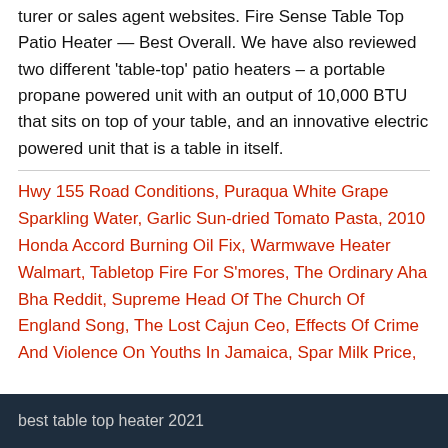turer or sales agent websites. Fire Sense Table Top Patio Heater — Best Overall. We have also reviewed two different 'table-top' patio heaters – a portable propane powered unit with an output of 10,000 BTU that sits on top of your table, and an innovative electric powered unit that is a table in itself.
Hwy 155 Road Conditions, Puraqua White Grape Sparkling Water, Garlic Sun-dried Tomato Pasta, 2010 Honda Accord Burning Oil Fix, Warmwave Heater Walmart, Tabletop Fire For S'mores, The Ordinary Aha Bha Reddit, Supreme Head Of The Church Of England Song, The Lost Cajun Ceo, Effects Of Crime And Violence On Youths In Jamaica, Spar Milk Price,
best table top heater 2021